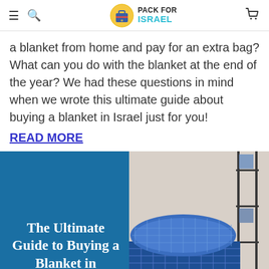Pack For Israel
a blanket from home and pay for an extra bag? What can you do with the blanket at the end of the year? We had these questions in mind when we wrote this ultimate guide about buying a blanket in Israel just for you!
READ MORE
[Figure (photo): Split image: left half is a dark blue panel with white handwritten-style text 'The Ultimate Guide to Buying a Blanket in'; right half shows a photograph of blue plaid/checkered bedding with a pillow on a bed, with a dark metal shelving unit in the background.]